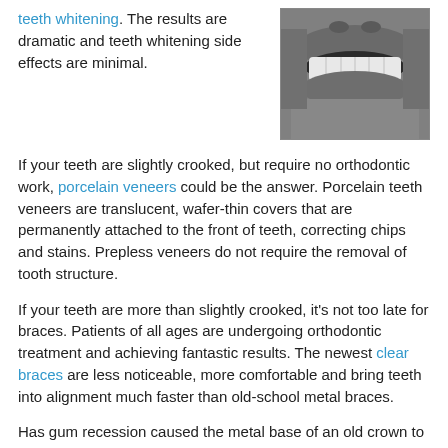teeth whitening. The results are dramatic and teeth whitening side effects are minimal.
[Figure (photo): Black and white close-up photo of a person smiling showing white teeth]
If your teeth are slightly crooked, but require no orthodontic work, porcelain veneers could be the answer. Porcelain teeth veneers are translucent, wafer-thin covers that are permanently attached to the front of teeth, correcting chips and stains. Prepless veneers do not require the removal of tooth structure.
If your teeth are more than slightly crooked, it's not too late for braces. Patients of all ages are undergoing orthodontic treatment and achieving fantastic results. The newest clear braces are less noticeable, more comfortable and bring teeth into alignment much faster than old-school metal braces.
Has gum recession caused the metal base of an old crown to be visible? Soft tissue grafts and crown replacement can correct this problem.